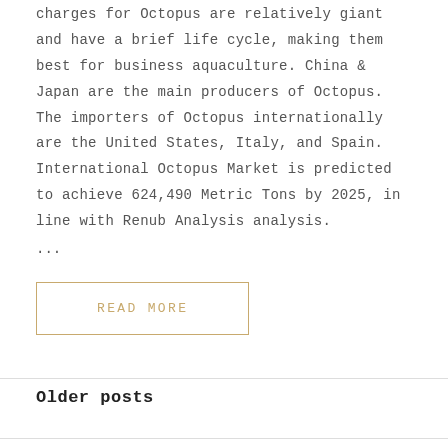charges for Octopus are relatively giant and have a brief life cycle, making them best for business aquaculture. China & Japan are the main producers of Octopus. The importers of Octopus internationally are the United States, Italy, and Spain. International Octopus Market is predicted to achieve 624,490 Metric Tons by 2025, in line with Renub Analysis analysis.
...
READ MORE
Older posts